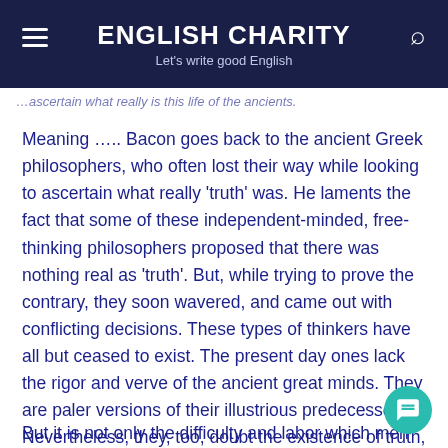ENGLISH CHARITY — Let's write good English
Meaning ….. Bacon goes back to the ancient Greek philosophers, who often lost their way while looking to ascertain what really 'truth' was. He laments the fact that some of these independent-minded, free-thinking philosophers proposed that there was nothing real as 'truth'. But, while trying to prove the contrary, they soon wavered, and came out with conflicting decisions. These types of thinkers have all but ceased to exist. The present day ones lack the rigor and verve of the ancient great minds. They are paler versions of their illustrious predecessors. Nevertheless, they, too, doubt the existence of truth, and tend to drift towards falsehood.
But it is not only the difficulty and labor which men